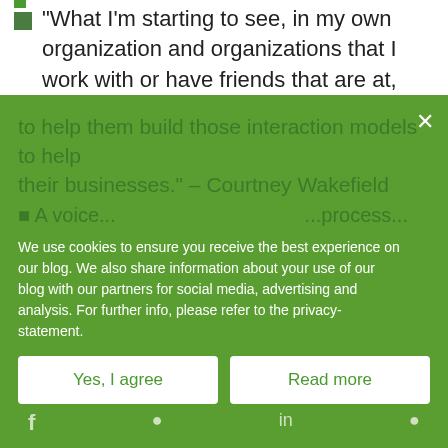“What I’m starting to see, in my own organization and organizations that I work with or have friends that are at, I’m starting to see this growth where folks are wanting to bring Alexa devices into their actual business activities. Or voice devices.” – Courtney Wakefield
“So, I predict that we’re going to see a lot of folks from the business side, a lot of folks from the operations side, leaning on their search professionals that are inside of their organizations to help them build those interaction models to help their businesses.” – Courtney Wakefield
We use cookies to ensure you receive the best experience on our blog. We also share information about your use of our blog with our partners for social media, advertising and analysis. For further info, please refer to the privacy-statement.